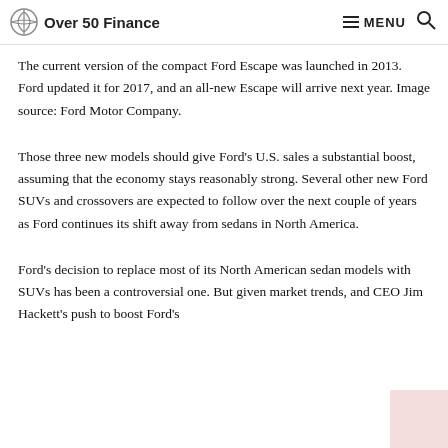Over 50 Finance | MENU
The current version of the compact Ford Escape was launched in 2013. Ford updated it for 2017, and an all-new Escape will arrive next year. Image source: Ford Motor Company.
Those three new models should give Ford's U.S. sales a substantial boost, assuming that the economy stays reasonably strong. Several other new Ford SUVs and crossovers are expected to follow over the next couple of years as Ford continues its shift away from sedans in North America.
Ford's decision to replace most of its North American sedan models with SUVs has been a controversial one. But given market trends, and CEO Jim Hackett's push to boost Ford's